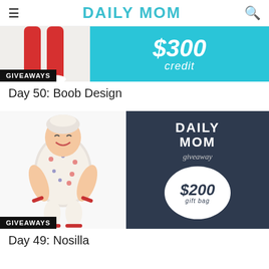DAILY MOM
[Figure (photo): Giveaway card for Day 50: Boob Design showing legs in red tights on left and $300 credit text on cyan background on right, with GIVEAWAYS badge]
Day 50: Boob Design
[Figure (photo): Giveaway card for Day 49: Nosilla showing baby in patterned pajamas on left and Daily Mom giveaway $200 gift bag on dark navy background on right, with GIVEAWAYS badge]
Day 49: Nosilla